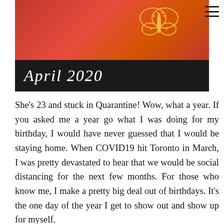[Figure (photo): A photo showing a person in a red butterfly-print top, with a dark chalkboard-style banner at the bottom reading 'April 2020' in cursive white handwriting.]
She's 23 and stuck in Quarantine! Wow, what a year. If you asked me a year go what I was doing for my birthday, I would have never guessed that I would be staying home. When COVID19 hit Toronto in March, I was pretty devastated to hear that we would be social distancing for the next few months. For those who know me, I make a pretty big deal out of birthdays. It's the one day of the year I get to show out and show up for myself.